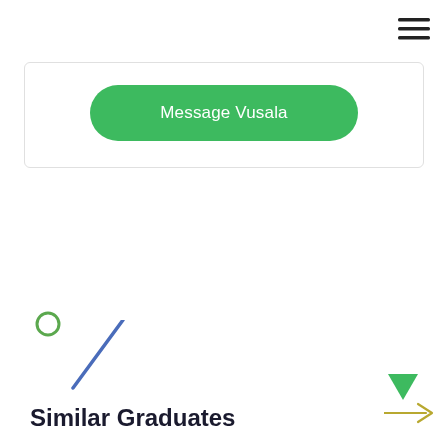[Figure (other): Hamburger menu icon (three horizontal lines) in top right corner]
[Figure (other): White card with green rounded 'Message Vusala' button]
[Figure (other): Small green open circle indicator]
[Figure (other): Green downward-pointing triangle]
[Figure (other): Blue diagonal line (decorative slash)]
Similar Graduates
[Figure (other): Green right arrow at bottom right corner]